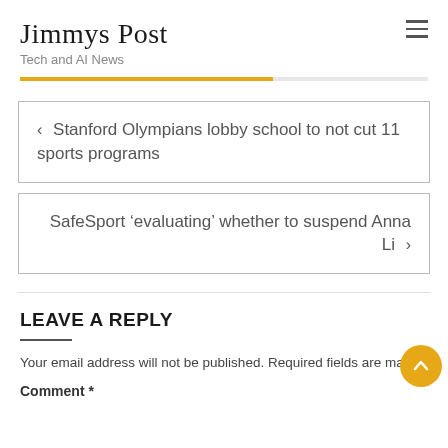Jimmys Post — Tech and AI News
Stanford Olympians lobby school to not cut 11 sports programs
SafeSport 'evaluating' whether to suspend Anna Li
LEAVE A REPLY
Your email address will not be published. Required fields are marked *
Comment *